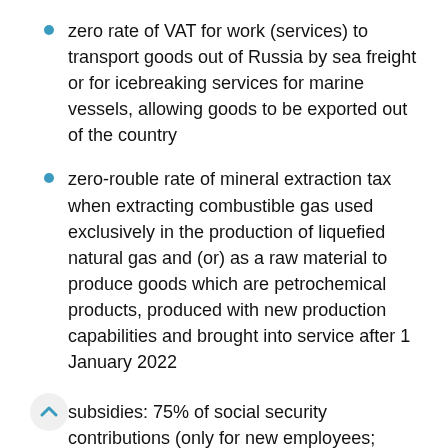zero rate of VAT for work (services) to transport goods out of Russia by sea freight or for icebreaking services for marine vessels, allowing goods to be exported out of the country
zero-rouble rate of mineral extraction tax when extracting combustible gas used exclusively in the production of liquefied natural gas and (or) as a raw material to produce goods which are petrochemical products, produced with new production capabilities and brought into service after 1 January 2022
subsidies: 75% of social security contributions (only for new employees; does not apply to projects to extract mineral resources)